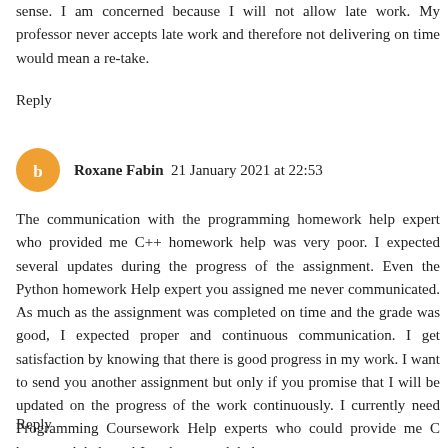sense. I am concerned because I will not allow late work. My professor never accepts late work and therefore not delivering on time would mean a re-take.
Reply
Roxane Fabin  21 January 2021 at 22:53
The communication with the programming homework help expert who provided me C++ homework help was very poor. I expected several updates during the progress of the assignment. Even the Python homework Help expert you assigned me never communicated. As much as the assignment was completed on time and the grade was good, I expected proper and continuous communication. I get satisfaction by knowing that there is good progress in my work. I want to send you another assignment but only if you promise that I will be updated on the progress of the work continuously. I currently need Programming Coursework Help experts who could provide me C homework help and Java homework help.
Reply